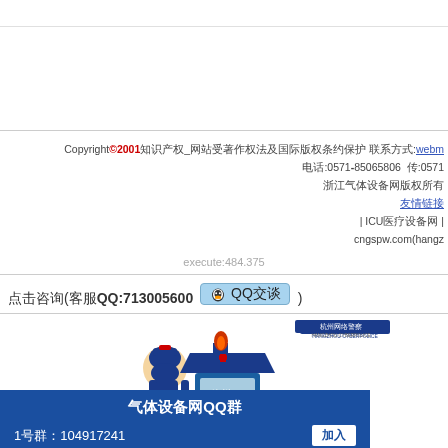Copyright©2001知识产权_网站受著作权法及国际版权条约保护 联系方式:webmaster  电话:0571-85065806  传真:0571-...  浙江气体设备网版权所有  友情链接  | ICU医疗设备网 |  cngspw.com(hangz...
execute:484.375
点击咨询(客服QQ:713005600  QQ交谈 )
[Figure (illustration): Three cartoon police officer mascots representing Hangzhou Cyberpolice (杭州网络警察), with Chinese text and logo]
气体设备网QQ群
1号群：104917241  加入
2号群：168598571  加入
欢迎加入
互动交流